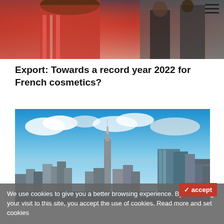[Figure (photo): Top cropped photo showing a woman in a red dress and other people in the background, partially visible]
Export: Towards a record year 2022 for French cosmetics?
[Figure (photo): Aerial cityscape photo of New York City skyline with Empire State Building prominent in the center, blue sky with clouds]
We use cookies to give you a better browsing experience. By continuing your visit to this site, you accept the use of cookies. Read more and set cookies